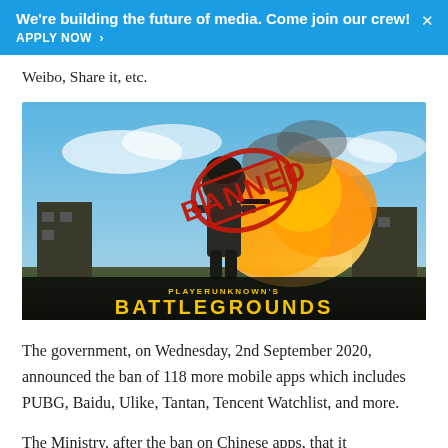We're building the future of media. Come join our crew! APPLY NOW >
Weibo, Share it, etc.
[Figure (photo): PUBG (PlayerUnknown's Battlegrounds) game promotional image with a soldier character, explosion in background, and a red 'BANNED' stamp overlaid on the image. Text reads PLAYERUNKNOWN'S BATTLEGROUNDS at the bottom.]
The government, on Wednesday, 2nd September 2020, announced the ban of 118 more mobile apps which includes PUBG, Baidu, Ulike, Tantan, Tencent Watchlist, and more.
The Ministry, after the ban on Chinese apps, that it